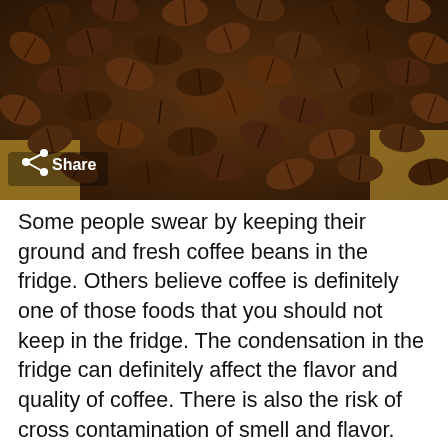[Figure (photo): Close-up photograph of roasted coffee beans piled on a burlap sack surface, dark brown tones, with a Share button overlay in the lower left corner.]
Some people swear by keeping their ground and fresh coffee beans in the fridge. Others believe coffee is definitely one of those foods that you should not keep in the fridge. The condensation in the fridge can definitely affect the flavor and quality of coffee. There is also the risk of cross contamination of smell and flavor. Knowing that they pack cocaine in coffee grounds to fool drug sniffer drugs says something about the powerful smell of coffee. Do you want all your food to taste like fine Arabica? Or conversely, your expensive blue mountain java to take on the tinge of gorgonzola? Coffee is best stored in an airtight container in the pantry.